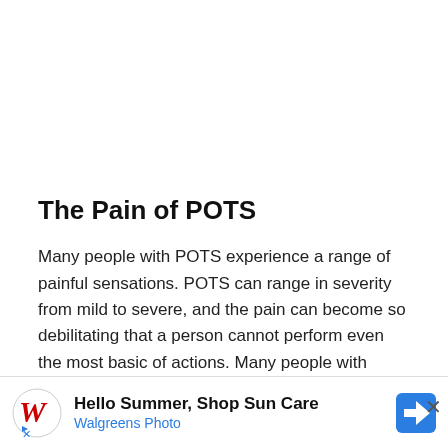The Pain of POTS
Many people with POTS experience a range of painful sensations. POTS can range in severity from mild to severe, and the pain can become so debilitating that a person cannot perform even the most basic of actions. Many people with POTS feel pain in the hands and feet, though it may manifest as an extreme chill some days. Others often feel pain in the chest and stomach or develop headaches.
[Figure (other): Walgreens Photo advertisement banner: 'Hello Summer, Shop Sun Care' with Walgreens cursive W logo and blue diamond navigation icon]